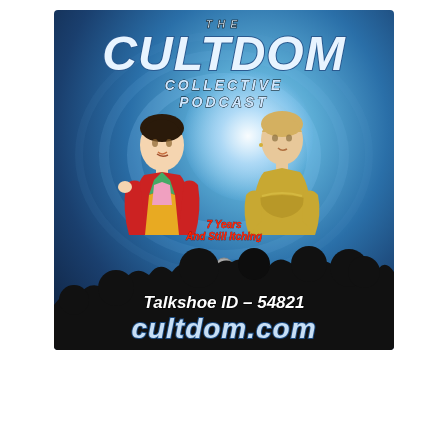[Figure (illustration): The Cultdom Collective Podcast promotional image. Features cartoon illustrations of two characters (one in a colorful multi-colored jacket on the left, one in a gold/tan outfit on the right) against a blue radial glowing background with silhouetted crowd at the bottom. Text reads: THE CULTDOM COLLECTIVE PODCAST, 7 Years And Still Itching, Talkshoe ID - 54821, CULTDOM.COM]